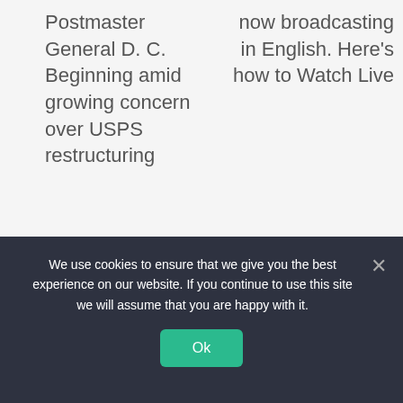Postmaster General D. C. Beginning amid growing concern over USPS restructuring
now broadcasting in English. Here's how to Watch Live
We use cookies to ensure that we give you the best experience on our website. If you continue to use this site we will assume that you are happy with it.